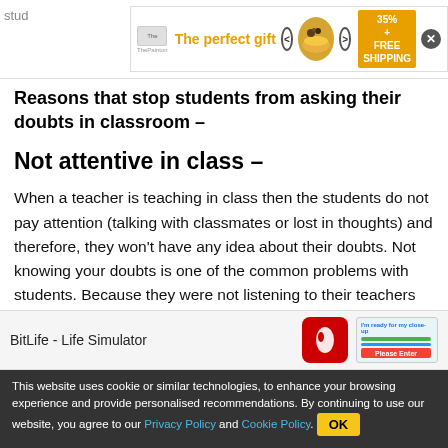stud ... ers. [Advertisement banner: The perfect gift — 35% + FREE SHIPPING]
Reasons that stop students from asking their doubts in classroom –
Not attentive in class –
When a teacher is teaching in class then the students do not pay attention (talking with classmates or lost in thoughts) and therefore, they won't have any idea about their doubts. Not knowing your doubts is one of the common problems with students. Because they were not listening to their teachers and hence, have no idea what was being taught and they are not able to identify their doubts about the concepts
[Figure (screenshot): Bottom advertisement for BitLife - Life Simulator mobile game]
This website uses cookie or similar technologies, to enhance your browsing experience and provide personalised recommendations. By continuing to use our website, you agree to our Privacy Policy and Cookie Policy. OK